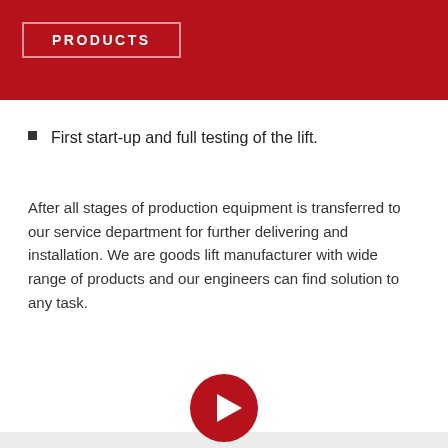PRODUCTS
First start-up and full testing of the lift.
After all stages of production equipment is transferred to our service department for further delivering and installation. We are goods lift manufacturer with wide range of products and our engineers can find solution to any task.
[Figure (other): Red circular play button icon]
Lifts case studies
[Figure (other): Left and right navigation arrows with downward chevron]